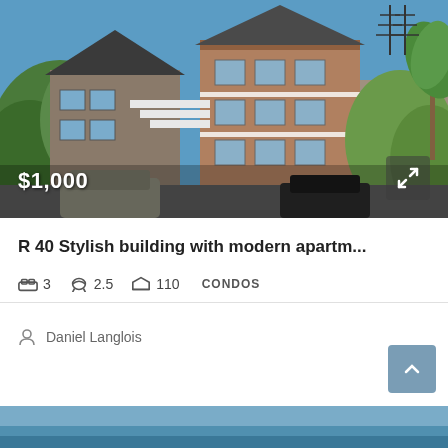[Figure (photo): Exterior photo of a multi-story residential building with brick and siding facade, white balcony railings, surrounded by green trees and shrubs. Two SUVs parked in foreground. Price overlay $1,000 in bottom left. Navigation arrow button in bottom right.]
R 40 Stylish building with modern apartm...
3  2.5  110  CONDOS
Daniel Langlois
[Figure (photo): Partial view of a second property listing image at the bottom of the page, showing a blue sky or water scene.]